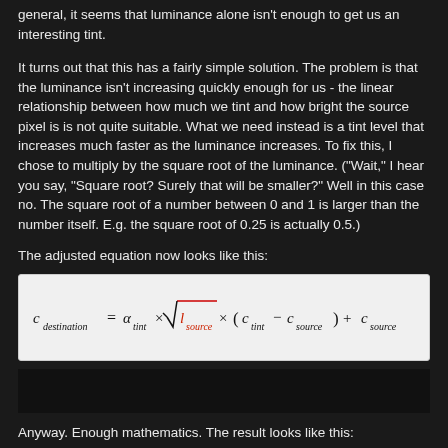general, it seems that luminance alone isn't enough to get us an interesting tint.
It turns out that this has a fairly simple solution. The problem is that the luminance isn't increasing quickly enough for us - the linear relationship between how much we tint and how bright the source pixel is is not quite suitable. What we need instead is a tint level that increases much faster as the luminance increases. To fix this, I chose to multiply by the square root of the luminance. ("Wait," I hear you say, "Square root? Surely that will be smaller?" Well in this case no. The square root of a number between 0 and 1 is larger than the number itself. E.g. the square root of 0.25 is actually 0.5.)
The adjusted equation now looks like this:
Anyway. Enough mathematics. The result looks like this: